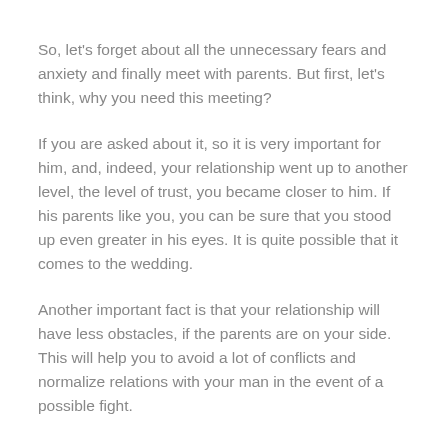So, let's forget about all the unnecessary fears and anxiety and finally meet with parents. But first, let's think, why you need this meeting?
If you are asked about it, so it is very important for him, and, indeed, your relationship went up to another level, the level of trust, you became closer to him. If his parents like you, you can be sure that you stood up even greater in his eyes. It is quite possible that it comes to the wedding.
Another important fact is that your relationship will have less obstacles, if the parents are on your side. This will help you to avoid a lot of conflicts and normalize relations with your man in the event of a possible fight.